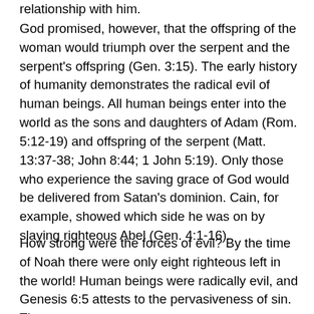relationship with him.
God promised, however, that the offspring of the woman would triumph over the serpent and the serpent's offspring (Gen. 3:15). The early history of humanity demonstrates the radical evil of human beings. All human beings enter into the world as the sons and daughters of Adam (Rom. 5:12-19) and offspring of the serpent (Matt. 13:37-38; John 8:44; 1 John 5:19). Only those who experience the saving grace of God would be delivered from Satan's dominion. Cain, for example, showed which side he was on by slaying righteous Abel (Gen. 4:1-16).
How strong were the forces of evil? By the time of Noah there were only eight righteous left in the world! Human beings were radically evil, and Genesis 6:5 attests to the pervasiveness of sin. The